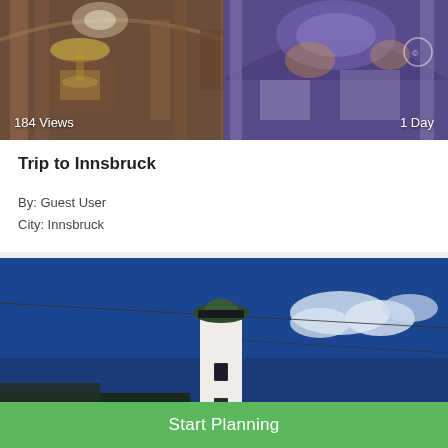[Figure (photo): Interior of an ornate baroque church with gilded decorations, frescoed dome ceiling, and marble columns. Split image showing two views of the same church interior.]
184 Views
1 Day
Trip to Innsbruck
By: Guest User
City: Innsbruck
[Figure (photo): A tall white lighthouse or tower with a dark green dome top, photographed from below against a deep blue sky with some white clouds. Power lines cross the sky.]
Start Planning